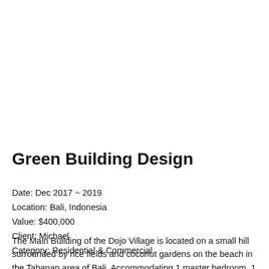Green Building Design
Date: Dec 2017 ~ 2019
Location: Bali, Indonesia
Value: $400,000
Client: Michael
Category: Residential & Commercial
The Main Building of the Dojo Village is located on a small hill surrounded by rice fields and coconut gardens on the beach in the Tabanan area of Bali. Accommodating 1 master bedroom, 1